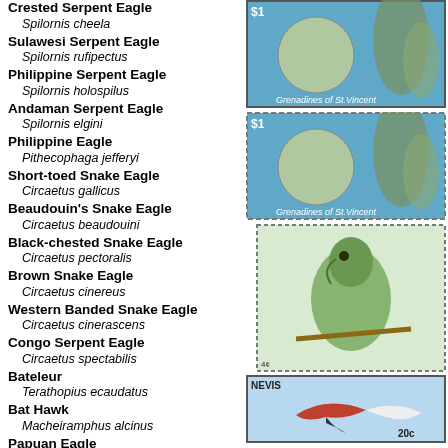Crested Serpent Eagle
Spilornis cheela
Sulawesi Serpent Eagle
Spilornis rufipectus
Philippine Serpent Eagle
Spilornis holospilus
Andaman Serpent Eagle
Spilornis elgini
Philippine Eagle
Pithecophaga jefferyi
Short-toed Snake Eagle
Circaetus gallicus
Beaudouin's Snake Eagle
Circaetus beaudouini
Black-chested Snake Eagle
Circaetus pectoralis
Brown Snake Eagle
Circaetus cinereus
Western Banded Snake Eagle
Circaetus cinerascens
Congo Serpent Eagle
Circaetus spectabilis
Bateleur
Terathopius ecaudatus
Bat Hawk
Macheiramphus alcinus
Papuan Eagle
Harpyopsis novaeguineae
Crested Eagle
Morphnus guianensis
[Figure (illustration): Postage stamp from Grenadines of St. Vincent showing $1 denomination with bird and floral design]
[Figure (illustration): Postage stamp from Grenadines of St. Vincent showing $1 denomination with bird and floral design, dashed border]
[Figure (illustration): Postage stamp showing green bird on branch, dashed border]
[Figure (illustration): Postage stamp from Nevis showing flying bird, 20c denomination]
[Figure (illustration): Postage stamp from Grenada showing falcon/hawk, 4c/57c denomination]
[Figure (illustration): Postage stamp from Solomon Islands]
[Figure (illustration): Postage stamp from St. Vincent & The Grenadines showing flying bird, $1 denomination]
[Figure (illustration): Postage stamp showing bird on branch]